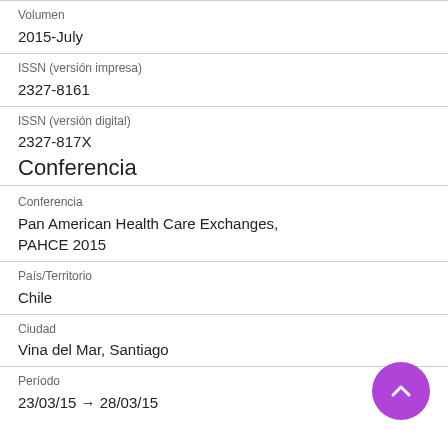Volumen
2015-July
ISSN (versión impresa)
2327-8161
ISSN (versión digital)
2327-817X
Conferencia
Conferencia
Pan American Health Care Exchanges, PAHCE 2015
País/Territorio
Chile
Ciudad
Vina del Mar, Santiago
Período
23/03/15 → 28/03/15